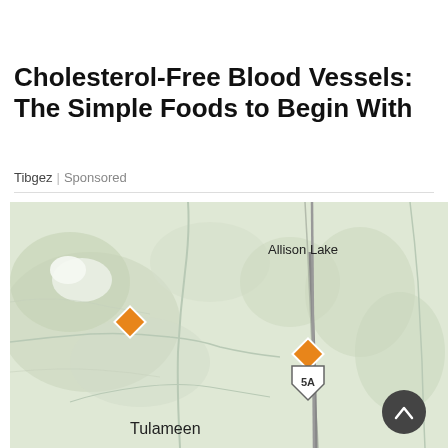Cholesterol-Free Blood Vessels: The Simple Foods to Begin With
Tibgez | Sponsored
[Figure (map): Topographic map showing Allison Lake area, Tulameen, Summer's Creek, highway 5A marker, and two orange diamond-shaped location pins on a light green/beige terrain background with a scroll-to-top button.]